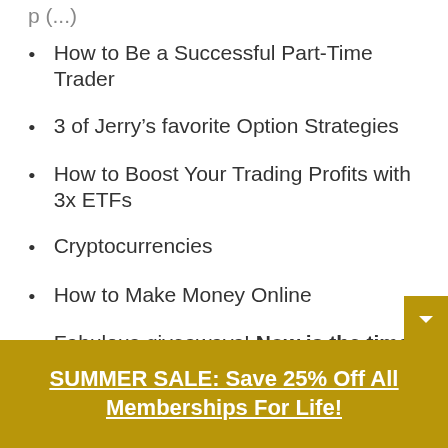How to Be a Successful Part-Time Trader
3 of Jerry’s favorite Option Strategies
How to Boost Your Trading Profits with 3x ETFs
Cryptocurrencies
How to Make Money Online
Fabulous giveaways! Now is the time to reserve your seat!
SUMMER SALE: Save 25% Off All Memberships For Life!